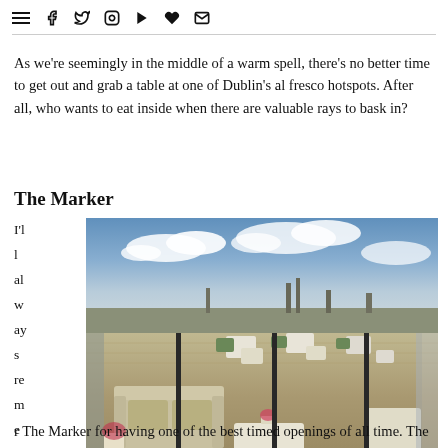≡ f t 🎥 ▶ ♥ ✉
As we're seemingly in the middle of a warm spell, there's no better time to get out and grab a table at one of Dublin's al fresco hotspots. After all, who wants to eat inside when there are valuable rays to bask in?
The Marker
I'll always remember The Marker for having one of the best timed openings of all time. The
[Figure (photo): Rooftop terrace of The Marker hotel with white modern furniture, sofas, plants and a panoramic view of Dublin cityscape under a partly cloudy sky]